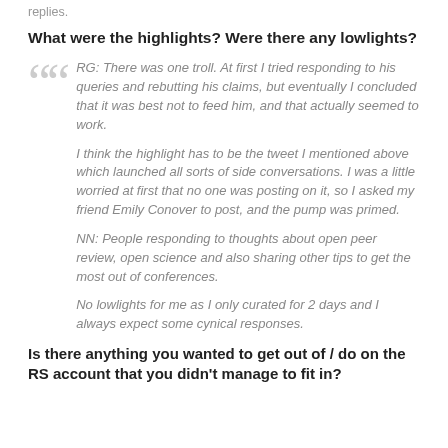replies.
What were the highlights? Were there any lowlights?
RG: There was one troll. At first I tried responding to his queries and rebutting his claims, but eventually I concluded that it was best not to feed him, and that actually seemed to work.

I think the highlight has to be the tweet I mentioned above which launched all sorts of side conversations. I was a little worried at first that no one was posting on it, so I asked my friend Emily Conover to post, and the pump was primed.

NN: People responding to thoughts about open peer review, open science and also sharing other tips to get the most out of conferences.

No lowlights for me as I only curated for 2 days and I always expect some cynical responses.
Is there anything you wanted to get out of / do on the RS account that you didn't manage to fit in?